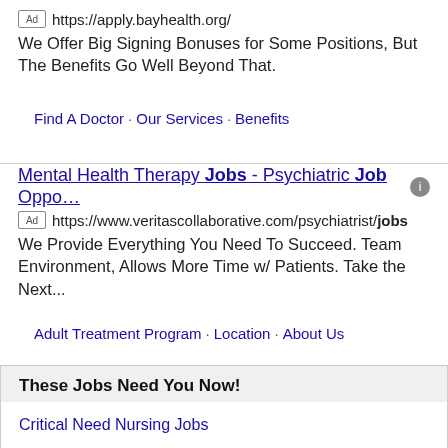Ad https://apply.bayhealth.org/
We Offer Big Signing Bonuses for Some Positions, But The Benefits Go Well Beyond That.
Find A Doctor · Our Services · Benefits
Mental Health Therapy Jobs - Psychiatric Job Oppo…  Ad https://www.veritascollaborative.com/psychiatrist/jobs
We Provide Everything You Need To Succeed. Team Environment, Allows More Time w/ Patients. Take the Next...
Adult Treatment Program · Location · About Us
These Jobs Need You Now!
Critical Need Nursing Jobs
High Paid Postings
100K+ openings